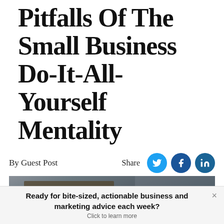Pitfalls Of The Small Business Do-It-All-Yourself Mentality
By Guest Post
[Figure (photo): Photograph showing a storefront or business entrance with dark metal fixtures]
Ready for bite-sized, actionable business and marketing advice each week? Click to learn more